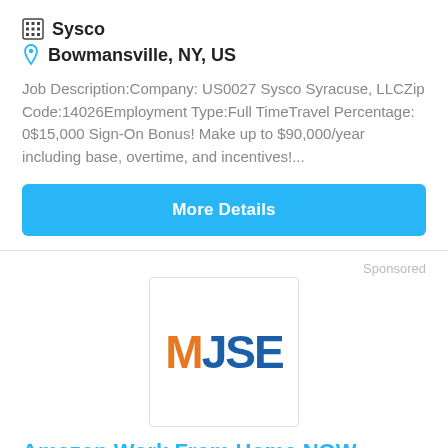Sysco
Bowmansville, NY, US
Job Description:Company: US0027 Sysco Syracuse, LLCZip Code:14026Employment Type:Full TimeTravel Percentage: 0$15,000 Sign-On Bonus! Make up to $90,000/year including base, overtime, and incentives!...
More Details
Sponsored
[Figure (logo): MJSE logo with orange M and blue JSE letters]
Amazon Work From Home NOW OPEN: $16